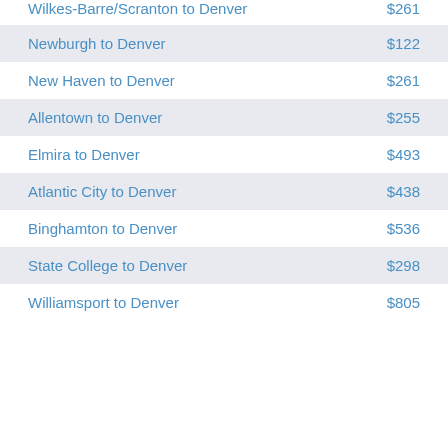Wilkes-Barre/Scranton to Denver $261
Newburgh to Denver $122
New Haven to Denver $261
Allentown to Denver $255
Elmira to Denver $493
Atlantic City to Denver $438
Binghamton to Denver $536
State College to Denver $298
Williamsport to Denver $805